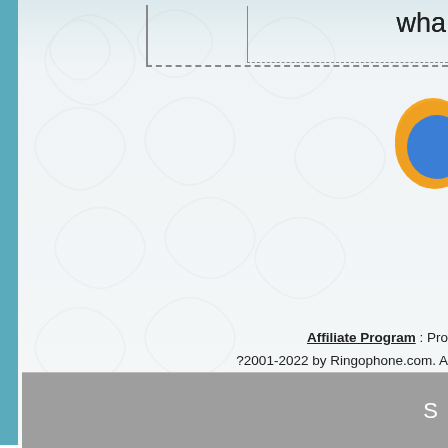wha
[Figure (screenshot): Decorative swirl background pattern in light gray]
[Figure (logo): Orange and blue circular icon/logo partially visible on right side]
Artist name
Ringophone.com
and pays copyright
About
Affiliate Program : Pro
?2001-2022 by Ringophone.com. A
S
Make Karaoke out of ANY Song
Download Ringtones
Remove Vocals from Songs